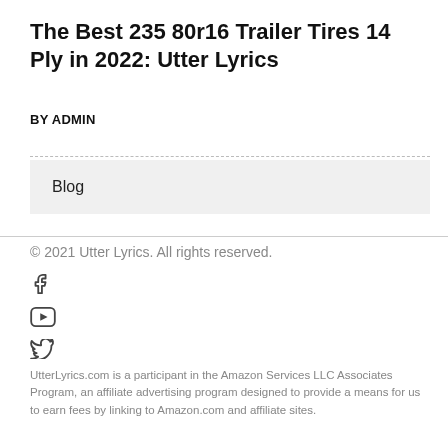The Best 235 80r16 Trailer Tires 14 Ply in 2022: Utter Lyrics
BY ADMIN
Blog
© 2021 Utter Lyrics. All rights reserved.
UtterLyrics.com is a participant in the Amazon Services LLC Associates Program, an affiliate advertising program designed to provide a means for us to earn fees by linking to Amazon.com and affiliate sites.